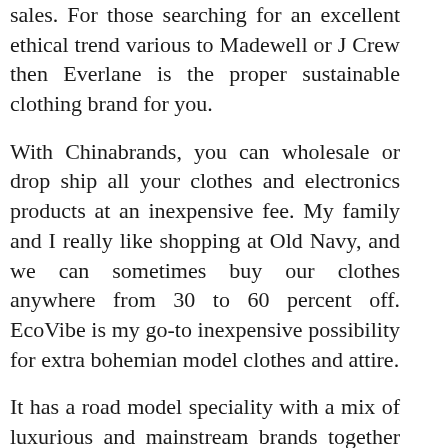sales. For those searching for an excellent ethical trend various to Madewell or J Crew then Everlane is the proper sustainable clothing brand for you.
With Chinabrands, you can wholesale or drop ship all your clothes and electronics products at an inexpensive fee. My family and I really like shopping at Old Navy, and we can sometimes buy our clothes anywhere from 30 to 60 percent off. EcoVibe is my go-to inexpensive possibility for extra bohemian model clothes and attire.
It has a road model speciality with a mix of luxurious and mainstream brands together with Rick Owens, Saint Laurent, and Hole. It is not solely the fairer intercourse who love to shop online. That is the online equivalent of a high-trend automobile-boot sale where the online neighborhood comes collectively to buy and sell